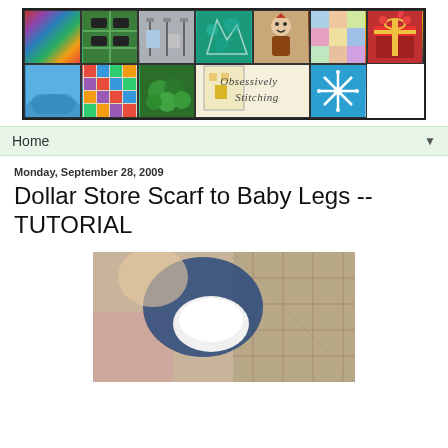[Figure (illustration): Banner header for 'Obsessively Stitching' blog showing a grid of craft/sewing photos including fabric stacks, quilts, dolls, gifts, plants, and a logo cell with cursive text 'Obsessively Stitching']
Home ▼
Monday, September 28, 2009
Dollar Store Scarf to Baby Legs -- TUTORIAL
[Figure (photo): Photo of a baby lying on a quilt, wearing jeans and a white diaper showing, viewed from above/behind]